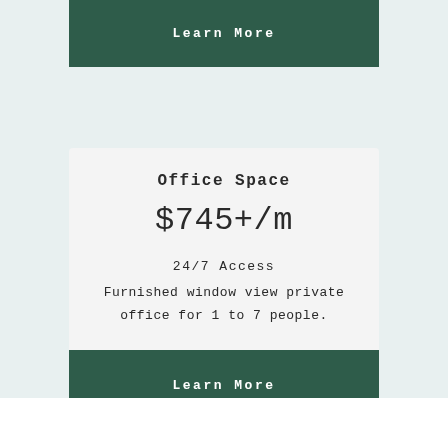Learn More
Office Space
$745+/m
24/7 Access
Furnished window view private office for 1 to 7 people.
Learn More